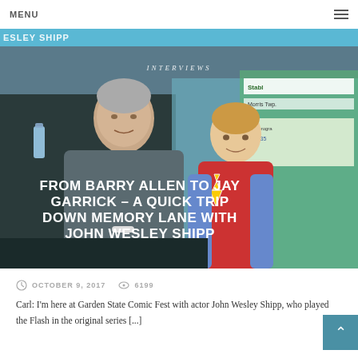MENU
[Figure (photo): Website article page with hero image showing an older man with grey hair sitting next to a young child wearing a Flash superhero shirt. Text overlay reads INTERVIEWS and the article title. Background shows a convention setting.]
FROM BARRY ALLEN TO JAY GARRICK – A QUICK TRIP DOWN MEMORY LANE WITH JOHN WESLEY SHIPP
OCTOBER 9, 2017   6199
Carl: I'm here at Garden State Comic Fest with actor John Wesley Shipp, who played the Flash in the original series [...]